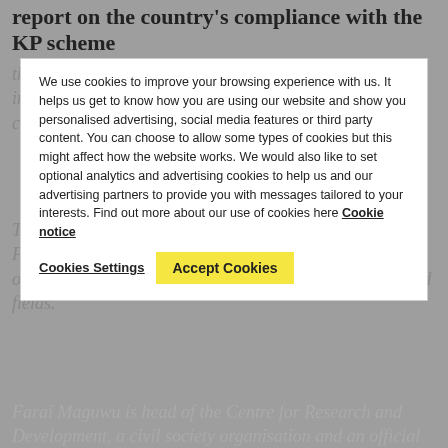report on the country's compliance with the KP scheme
that he met with Farai Maguwu in the presence of state intelligence officers, raising fears that he seriously compromised Farai Maguwu's safety.
We use cookies to improve your browsing experience with us. It helps us get to know how you are using our website and show you personalised advertising, social media features or third party content. You can choose to allow some types of cookies but this might affect how the website works. We would also like to set optional analytics and advertising cookies to help us and our advertising partners to provide you with messages tailored to your interests. Find out more about our use of cookies here Cookie notice
The monitor's statement calls into question the Kimberley Process' website claims for who should also be an optional informant and an expert on Zimbabwe's diamond fields.
Farai Maguwu is head of the Centre for Research and Development, a civil society organisation and an official observer of the Kimberly Process, has been central in investigating human rights violations against local people in Marange diamond fields.
The activist is being charged under Section 31 of the Criminal Law (Reform and Codification), a section that violations the right to freedom of expression and falls short of the standards set out under the Declaration on the Right